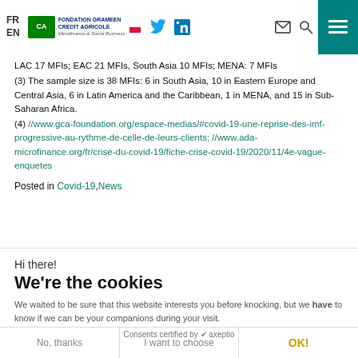FR EN | Fondation Grameen Credit Agricole — Microfinance & Social Business
LAC 17 MFIs; EAC 21 MFIs, South Asia 10 MFIs; MENA: 7 MFIs
(3) The sample size is 38 MFIs: 6 in South Asia, 10 in Eastern Europe and Central Asia, 6 in Latin America and the Caribbean, 1 in MENA, and 15 in Sub-Saharan Africa.
(4) //www.gca-foundation.org/espace-medias/#covid-19-une-reprise-des-imf-progressive-au-rythme-de-celle-de-leurs-clients; //www.ada-microfinance.org/fr/crise-du-covid-19/fiche-crise-covid-19/2020/11/4e-vague-enquetes
Posted in Covid-19, News
Hi there!
We're the cookies
We waited to be sure that this website interests you before knocking, but we have to know if we can be your companions during your visit.
Consents certified by axeptio
No, thanks | I want to choose | OK!